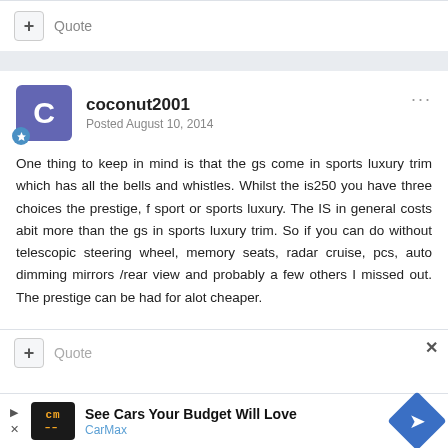Quote
coconut2001
Posted August 10, 2014
One thing to keep in mind is that the gs come in sports luxury trim which has all the bells and whistles. Whilst the is250 you have three choices the prestige, f sport or sports luxury. The IS in general costs abit more than the gs in sports luxury trim. So if you can do without telescopic steering wheel, memory seats, radar cruise, pcs, auto dimming mirrors /rear view and probably a few others I missed out. The prestige can be had for alot cheaper.
Quote
[Figure (infographic): CarMax advertisement banner: 'See Cars Your Budget Will Love' with CarMax logo and navigation arrow icon]